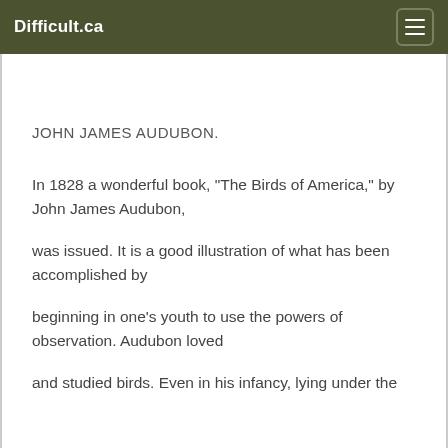Difficult.ca
JOHN JAMES AUDUBON.
In 1828 a wonderful book, "The Birds of America," by John James Audubon,
was issued. It is a good illustration of what has been accomplished by
beginning in one's youth to use the powers of observation. Audubon loved
and studied birds. Even in his infancy, lying under the